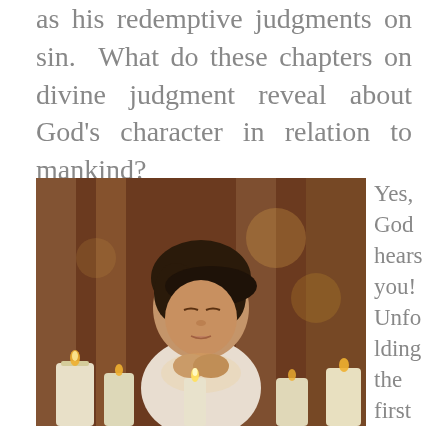as his redemptive judgments on sin. What do these chapters on divine judgment reveal about God's character in relation to mankind?
[Figure (photo): A young girl with eyes closed, hands clasped in prayer, surrounded by lit white candles in a dimly lit interior space with wooden columns in the background.]
Yes, God hears you! Unfolding the first